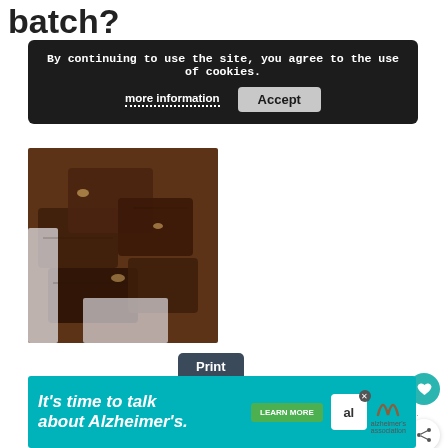batch?
By continuing to use the site, you agree to the use of cookies.
more information   Accept
[Figure (photo): Stack of chocolate brownies on a white plate, closeup view]
Print
Banana Brownies Recipe
Prep Time
10 mins
Cook Time
30 mins
Total Time
40 mins
WHAT'S NEXT → Have you tried Banana Carr...
It's time to talk about Alzheimer's.   LEARN MORE